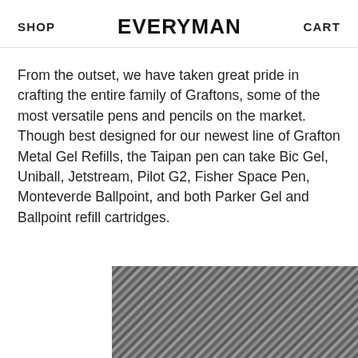SHOP   EVERYMAN   CART
From the outset, we have taken great pride in crafting the entire family of Graftons, some of the most versatile pens and pencils on the market. Though best designed for our newest line of Grafton Metal Gel Refills, the Taipan pen can take Bic Gel, Uniball, Jetstream, Pilot G2, Fisher Space Pen, Monteverde Ballpoint, and both Parker Gel and Ballpoint refill cartridges.
[Figure (photo): Partial view of a dark textured surface, likely a close-up photograph of a pen or metal material, shown at the bottom of the page.]